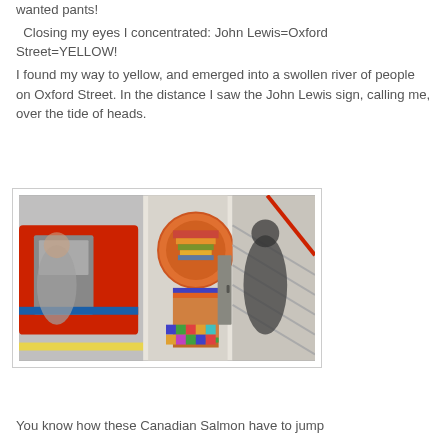wanted pants!
  Closing my eyes I concentrated: John Lewis=Oxford Street=YELLOW!
I found my way to yellow, and emerged into a swollen river of people on Oxford Street. In the distance I saw the John Lewis sign, calling me, over the tide of heads.
[Figure (photo): London Underground platform scene: blurred red tube train on the left, colourful mosaic pillar artwork in the centre, and a blurred silhouette figure near stairs on the right.]
You know how these Canadian Salmon have to jump